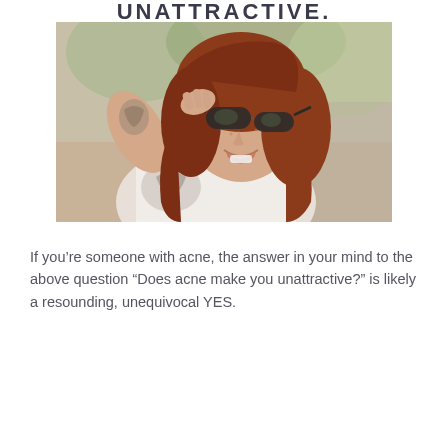UNATTRACTIVE.
[Figure (photo): A smiling woman with auburn/red hair and tattoos, wearing a white top and sunglasses she is lifting up with one hand, photographed outdoors with a blurred green background.]
If you’re someone with acne, the answer in your mind to the above question “Does acne make you unattractive?” is likely a resounding, unequivocal YES.